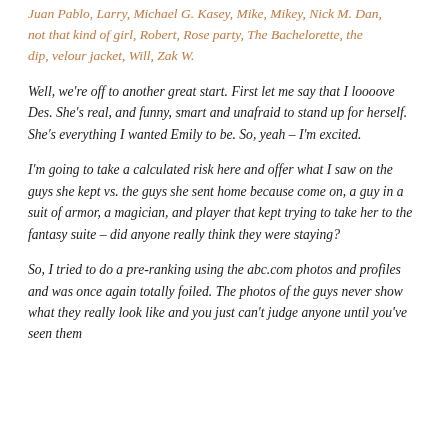Juan Pablo, Larry, Michael G. Kasey, Mike, Mikey, Nick M. Dan, not that kind of girl, Robert, Rose party, The Bachelorette, the dip, velour jacket, Will, Zak W.
Well, we're off to another great start. First let me say that I loooove Des. She's real, and funny, smart and unafraid to stand up for herself. She's everything I wanted Emily to be. So, yeah – I'm excited.
I'm going to take a calculated risk here and offer what I saw on the guys she kept vs. the guys she sent home because come on, a guy in a suit of armor, a magician, and player that kept trying to take her to the fantasy suite – did anyone really think they were staying?
So, I tried to do a pre-ranking using the abc.com photos and profiles and was once again totally foiled. The photos of the guys never show what they really look like and you just can't judge anyone until you've seen them